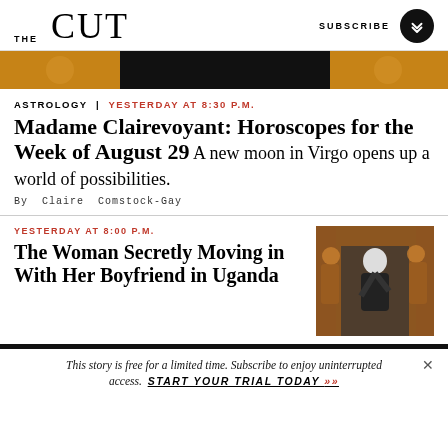THE CUT | SUBSCRIBE
[Figure (photo): Partial image strip showing warm amber/orange tones with dark center]
ASTROLOGY | YESTERDAY AT 8:30 P.M.
Madame Clairevoyant: Horoscopes for the Week of August 29 A new moon in Virgo opens up a world of possibilities.
By Claire Comstock-Gay
YESTERDAY AT 8:00 P.M.
The Woman Secretly Moving in With Her Boyfriend in Uganda
[Figure (photo): Black and white photo of a woman dancing or celebrating with others in background]
This story is free for a limited time. Subscribe to enjoy uninterrupted access. START YOUR TRIAL TODAY »